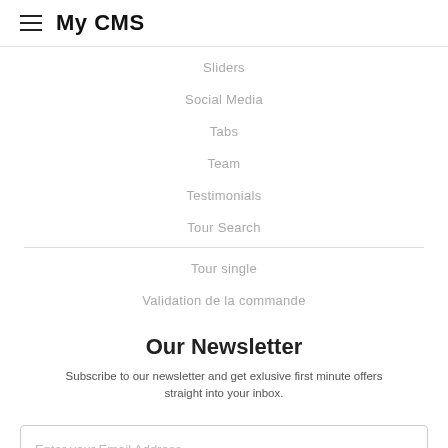My CMS
Sliders
Social Media
Tabs
Team
Testimonials
Tour Search
Tour single
Validation de la commande
Our Newsletter
Subscribe to our newsletter and get exlusive first minute offers straight into your inbox.
Enter your Email Address